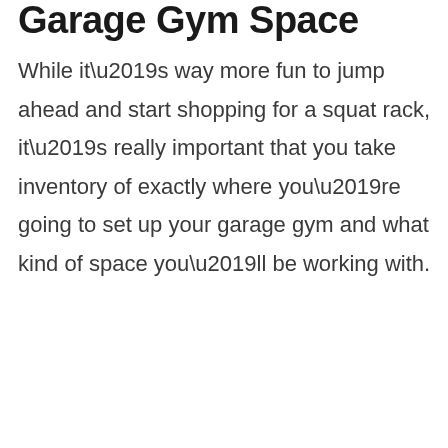Garage Gym Space
While it’s way more fun to jump ahead and start shopping for a squat rack, it’s really important that you take inventory of exactly where you’re going to set up your garage gym and what kind of space you’ll be working with.